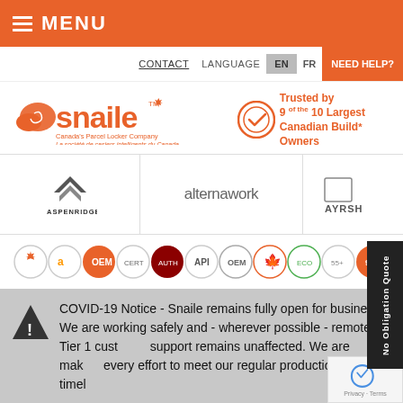MENU
CONTACT   LANGUAGE   EN   FR   NEED HELP?
[Figure (logo): Snaile logo - Canada's Parcel Locker Company with maple leaf icon and tagline in French]
Trusted by 9 of the 10 Largest Canadian Building Owners
[Figure (logo): ASPENRIDGE logo with chevron/triangle icon]
[Figure (logo): alternawork logo]
[Figure (logo): AYRSH... logo (partially visible)]
[Figure (infographic): Row of certification and partner badge icons including Amazon, API, OEM, Canadian maple leaf, 55+, 9/10 and other badges]
No Obligation Quote
COVID-19 Notice - Snaile remains fully open for business. We are working safely and - wherever possible - remotely. Tier 1 customer support remains unaffected. We are making every effort to meet our regular production timelines.